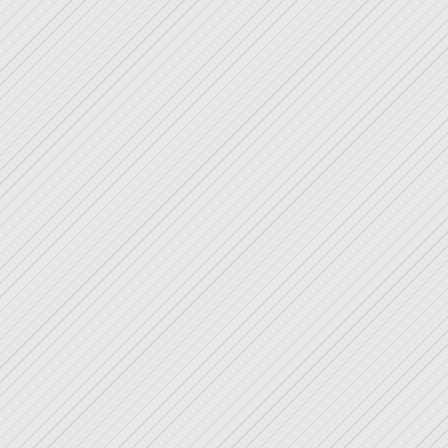PROMENE BEBE
2 x 20 SERVIETTES 3 PLIS BECASSINE L'HEURE D
2 x 20 SERVIETTES 3 PLIS RETRO BISCUITS LU P ECOLIER DE LU
2 x 20 SERVIETTES 3 PLIS BECASSINE A TABLE
2 x PLAQUE METAL COLLE BRETAGNE BREIZH BZH
2 x PLAQUE METAL 20X15c COLLECTION BRETAGN DOUARNENEZ COTE D
2 x PLAQUE METAL 20X15c COLLECTION BRETAGN CONCARNEAU FINISTE
2 x PLAQUE METAL 20X15c COLLECTION BRETAGN CARNAC PLAGE REINE
2 x PLAQUE METAL 20X15c COLLECTION BRETAGN CARNAC QUIBERON BR
2 x PLAQUE METAL 20X15c COLLECTION BRETAGN BELLE ISLE EN MER
2 x PLAQUE METAL 20X15c COLLECTION BRETAGN AVEN FINISTERE LA
2 x PLAQUE METAL 20X15c COLLECTION BRETAGN POINTE DU RAZ FINIST
2 x PLAQUE METAL 20X15c COLLECTION BRETAGN POINTE DE PENMARCH
2 x PLAQUE METAL 20X15c COLLECTION BRETAGN FAOUET MORBIHAN CH
2 x SET DE TABLE COLLEC LICENCE IV LOI DU 24 SEPTEMBRE 1941
2 x SOUS VERRES SOUS B